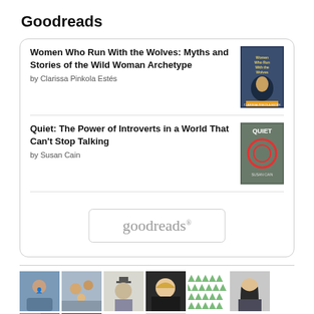Goodreads
[Figure (screenshot): Goodreads widget card showing two book listings: 'Women Who Run With the Wolves: Myths and Stories of the Wild Woman Archetype' by Clarissa Pinkola Estés, and 'Quiet: The Power of Introverts in a World That Can't Stop Talking' by Susan Cain. Each has a book cover thumbnail on the right. Below the listings is a Goodreads logo button.]
[Figure (photo): A row of avatar/profile images: person in blue-tinted photo, family selfie, illustrated figure with top hat, smiling blonde woman, green triangles pattern, woman with long dark hair, pink/purple light abstract, person in blue light, red flower illustration, tree in field.]